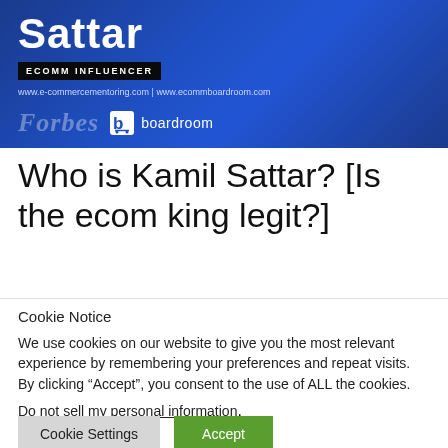[Figure (illustration): Banner image with dark blue gradient background showing 'Sattar' in large white bold text, 'ECOMM INFLUENCER' badge, website URLs, Forbes logo and boardroom icon with 'boardroom' text]
Who is Kamil Sattar? [Is the ecom king legit?]
Cookie Notice
We use cookies on our website to give you the most relevant experience by remembering your preferences and repeat visits. By clicking “Accept”, you consent to the use of ALL the cookies.
Do not sell my personal information.
Cookie Settings   Accept